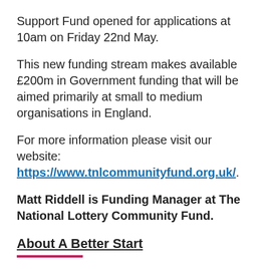Support Fund opened for applications at 10am on Friday 22nd May.
This new funding stream makes available £200m in Government funding that will be aimed primarily at small to medium organisations in England.
For more information please visit our website: https://www.tnlcommunityfund.org.uk/.
Matt Riddell is Funding Manager at The National Lottery Community Fund.
About A Better Start
A Better Start is a ten-year (2015-2025), £215 million programme set-up by The National